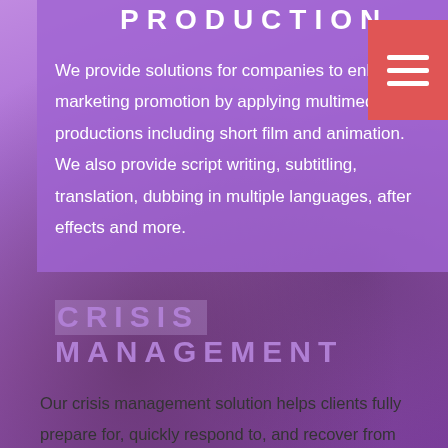PRODUCTION
We provide solutions for companies to enhance marketing promotion by applying multimedia productions including short film and animation. We also provide script writing, subtitling, translation, dubbing in multiple languages, after effects and more.
CRISIS MANAGEMENT
Our crisis management solution helps clients fully prepare for, quickly respond to, and recover from crises and challenges. We support our clients to